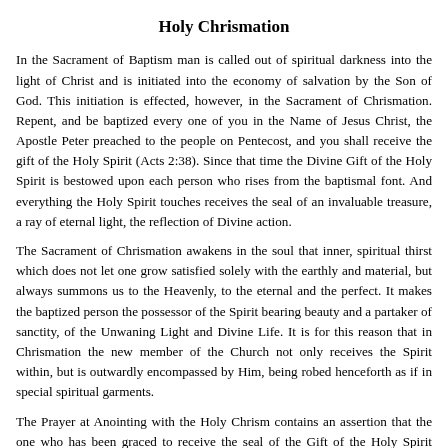Holy Chrismation
In the Sacrament of Baptism man is called out of spiritual darkness into the light of Christ and is initiated into the economy of salvation by the Son of God. This initiation is effected, however, in the Sacrament of Chrismation. Repent, and be baptized every one of you in the Name of Jesus Christ, the Apostle Peter preached to the people on Pentecost, and you shall receive the gift of the Holy Spirit (Acts 2:38). Since that time the Divine Gift of the Holy Spirit is bestowed upon each person who rises from the baptismal font. And everything the Holy Spirit touches receives the seal of an invaluable treasure, a ray of eternal light, the reflection of Divine action.
The Sacrament of Chrismation awakens in the soul that inner, spiritual thirst which does not let one grow satisfied solely with the earthly and material, but always summons us to the Heavenly, to the eternal and the perfect. It makes the baptized person the possessor of the Spirit bearing beauty and a partaker of sanctity, of the Unwaning Light and Divine Life. It is for this reason that in Chrismation the new member of the Church not only receives the Spirit within, but is outwardly encompassed by Him, being robed henceforth as if in special spiritual garments.
The Prayer at Anointing with the Holy Chrism contains an assertion that the one who has been graced to receive the seal of the Gift of the Holy Spirit receives aid to remain indomitable, unchanging, unharmed, untouched, unoppressed, safe from the designs of the Evil One, to abide in the Faith and to await the heavenly rewards of